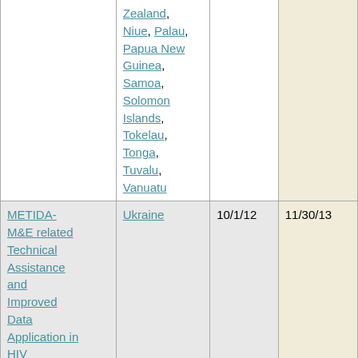| Project | Country | Start Date | End Date |
| --- | --- | --- | --- |
|  | Zealand, Niue, Palau, Papua New Guinea, Samoa, Solomon Islands, Tokelau, Tonga, Tuvalu, Vanuatu |  |  |
| METIDA- M&E related Technical Assistance and Improved Data Application in HIV | Ukraine | 10/1/12 | 11/30/13 |